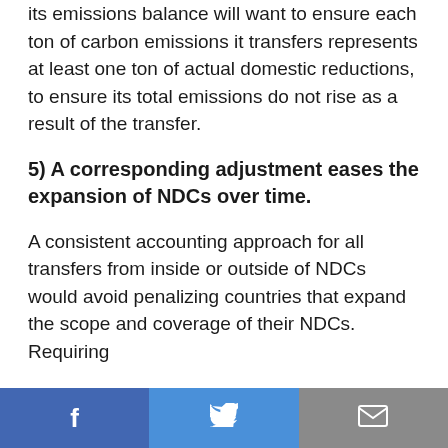its emissions balance will want to ensure each ton of carbon emissions it transfers represents at least one ton of actual domestic reductions, to ensure its total emissions do not rise as a result of the transfer.
5) A corresponding adjustment eases the expansion of NDCs over time.
A consistent accounting approach for all transfers from inside or outside of NDCs would avoid penalizing countries that expand the scope and coverage of their NDCs. Requiring
Share buttons: Facebook, Twitter, Email